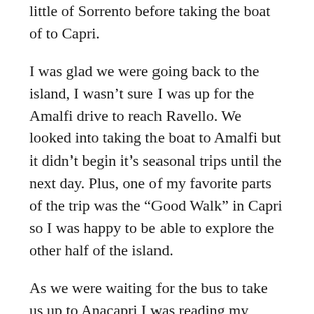little of Sorrento before taking the boat of to Capri.
I was glad we were going back to the island, I wasn't sure I was up for the Amalfi drive to reach Ravello. We looked into taking the boat to Amalfi but it didn't begin it's seasonal trips until the next day. Plus, one of my favorite parts of the trip was the “Good Walk” in Capri so I was happy to be able to explore the other half of the island.
As we were waiting for the bus to take us up to Anacapri I was reading my Fodor’s Naples, Capri & the Amalfi Coast book when I came across this piece: “One of the most breathtaking bus rides anywhere follows the tortuous road from Capri